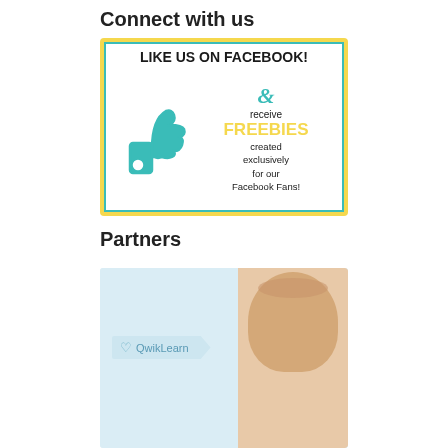Connect with us
[Figure (illustration): Facebook promotional banner with yellow border and teal inner border. Shows 'LIKE US ON FACEBOOK!' header, a teal thumbs up icon on the left, and text on the right: '& receive FREEBIES created exclusively for our Facebook Fans!']
Partners
[Figure (illustration): QwikLearn partner banner showing a light blue banner with a heart and 'QwikLearn' text, alongside a woman's face photo on the right side.]